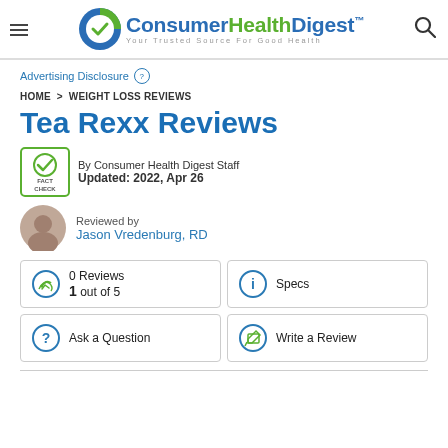Consumer Health Digest™ — Your Trusted Source For Good Health
Advertising Disclosure
HOME > WEIGHT LOSS REVIEWS
Tea Rexx Reviews
By Consumer Health Digest Staff
Updated: 2022, Apr 26
Reviewed by
Jason Vredenburg, RD
0 Reviews
1 out of 5
Specs
Ask a Question
Write a Review